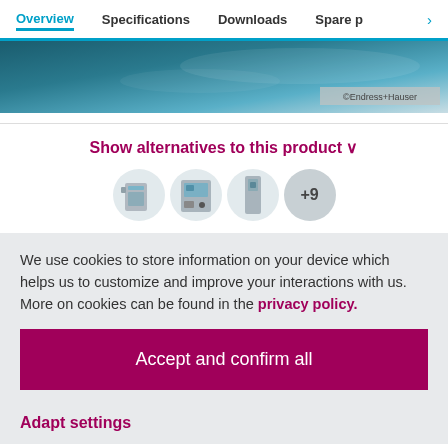Overview  Specifications  Downloads  Spare p >
[Figure (photo): Product banner image with dark teal to light gradient background and Endress+Hauser copyright badge]
Show alternatives to this product ∨
[Figure (photo): Three product thumbnail images (industrial instruments) followed by a +9 badge circle]
We use cookies to store information on your device which helps us to customize and improve your interactions with us. More on cookies can be found in the privacy policy.
Accept and confirm all
Adapt settings